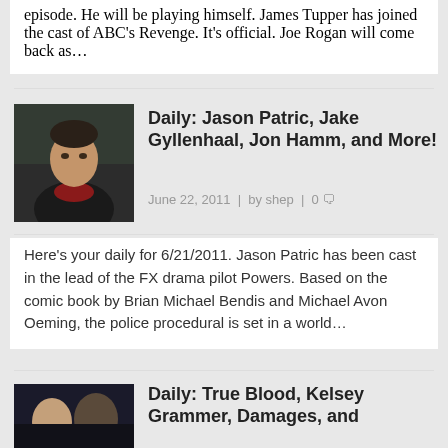episode. He will be playing himself. James Tupper has joined the cast of ABC's Revenge. It's official. Joe Rogan will come back as…
[Figure (photo): Headshot of a dark-haired man in a black jacket with a red scarf, in front of greenery]
Daily: Jason Patric, Jake Gyllenhaal, Jon Hamm, and More!
June 22, 2011 | by shep | 0
Here's your daily for 6/21/2011. Jason Patric has been cast in the lead of the FX drama pilot Powers. Based on the comic book by Brian Michael Bendis and Michael Avon Oeming, the police procedural is set in a world…
[Figure (photo): Two people appearing to kiss or embrace in a dark setting]
Daily: True Blood, Kelsey Grammer, Damages, and